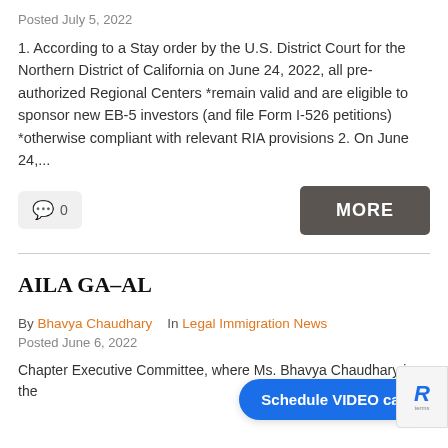Posted July 5, 2022
1. According to a Stay order by the U.S. District Court for the Northern District of California on June 24, 2022, all pre-authorized Regional Centers *remain valid and are eligible to sponsor new EB-5 investors (and file Form I-526 petitions) *otherwise compliant with relevant RIA provisions 2. On June 24,...
MORE
AILA GA-AL
By Bhavya Chaudhary   In Legal Immigration News
Posted June 6, 2022
Chapter Executive Committee, where Ms. Bhavya Chaudhary is the